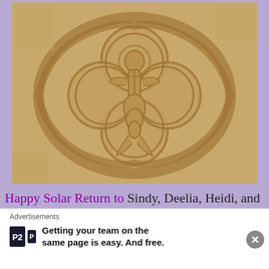[Figure (photo): Stone carving relief depicting a mermaid or serpentine female figure inside a quatrefoil medallion, surrounded by a snake or serpent coiled around the border. The carving is in sandy/tan limestone.]
Happy Solar Return to Sindy, Deelia, Heidi, and Lehua! Any other Scorpio goddess bloggers? I would love to include
Advertisements
Getting your team on the same page is easy. And free.